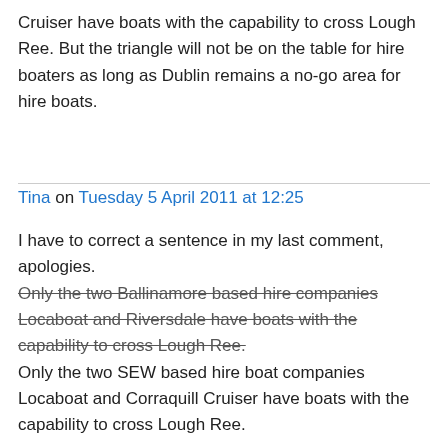Cruiser have boats with the capability to cross Lough Ree. But the triangle will not be on the table for hire boaters as long as Dublin remains a no-go area for hire boats.
Tina on Tuesday 5 April 2011 at 12:25
I have to correct a sentence in my last comment, apologies. Only the two Ballinamore based hire companies Locaboat and Riversdale have boats with the capability to cross Lough Ree. Only the two SEW based hire boat companies Locaboat and Corraquill Cruiser have boats with the capability to cross Lough Ree.